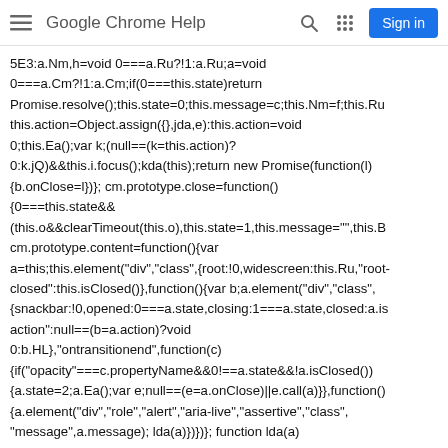Google Chrome Help
5E3:a.Nm,h=void 0===a.Ru?!1:a.Ru;a=void 0===a.Cm?!1:a.Cm;if(0===this.state)return Promise.resolve();this.state=0;this.message=c;this.Nm=f;this.Ru this.action=Object.assign({},jda,e):this.action=void 0;this.Ea();var k;(null==(k=this.action)? 0:k.jQ)&&this.i.focus();kda(this);return new Promise(function(l){b.onClose=l})}; cm.prototype.close=function(){0===this.state&&(this.o&&clearTimeout(this.o),this.state=1,this.message="",this.B cm.prototype.content=function(){var a=this;this.element("div","class",{root:!0,widescreen:this.Ru,"root-closed":this.isClosed()},function(){var b;a.element("div","class",{snackbar:!0,opened:0===a.state,closing:1===a.state,closed:a.is action":null==(b=a.action)?void 0:b.HL},"ontransitionend",function(c){if("opacity"===c.propertyName&&0!==a.state&&!a.isClosed()){a.state=2;a.Ea();var e;null==(e=a.onClose)||e.call(a)}},function(){a.element("div","role","alert","aria-live","assertive","class","message",a.message); lda(a)})})}; function lda(a){a.action&&a.element("div","class","action",function()